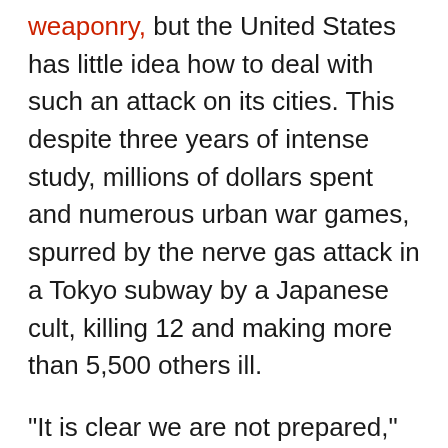weaponry, but the United States has little idea how to deal with such an attack on its cities. This despite three years of intense study, millions of dollars spent and numerous urban war games, spurred by the nerve gas attack in a Tokyo subway by a Japanese cult, killing 12 and making more than 5,500 others ill.
"It is clear we are not prepared," wrote Marine Corps Capt. Chris Seiple, a WMD (weapons of mass destruction) expert, in a recent issue of Parameters, the U.S. Army's theoretical journal. "There is still a great deal we don't know about how we should respond in such a crisis." The National Defense Panel, a body chartered by Congress, earlier this month urged the U.S. military to focus more on the possibility of hit-